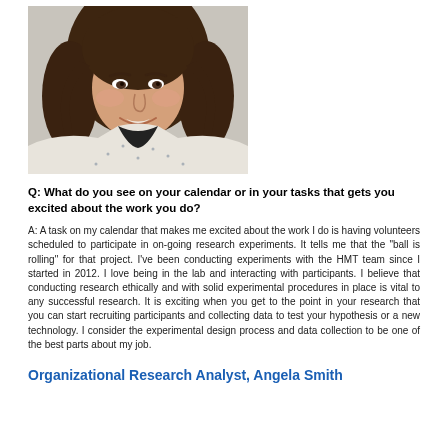[Figure (photo): Portrait photo of a young woman with long curly brown hair, smiling, wearing a white patterned top, photographed against a light neutral background.]
Q: What do you see on your calendar or in your tasks that gets you excited about the work you do?
A: A task on my calendar that makes me excited about the work I do is having volunteers scheduled to participate in on-going research experiments. It tells me that the "ball is rolling" for that project. I've been conducting experiments with the HMT team since I started in 2012. I love being in the lab and interacting with participants. I believe that conducting research ethically and with solid experimental procedures in place is vital to any successful research. It is exciting when you get to the point in your research that you can start recruiting participants and collecting data to test your hypothesis or a new technology. I consider the experimental design process and data collection to be one of the best parts about my job.
Organizational Research Analyst, Angela Smith